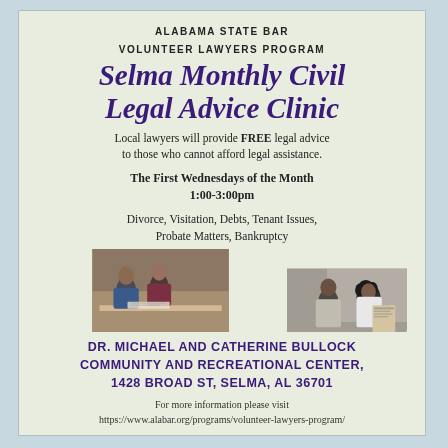ALABAMA STATE BAR
VOLUNTEER LAWYERS PROGRAM
Selma Monthly Civil Legal Advice Clinic
Local lawyers will provide FREE legal advice to those who cannot afford legal assistance.
The First Wednesdays of the Month
1:00-3:00pm
Divorce, Visitation, Debts, Tenant Issues, Probate Matters, Bankruptcy
[Figure (photo): Two photos side by side: left photo shows two people (a woman in blue jacket and a woman in burgundy) sitting at a table in consultation; right photo shows a man in a light suit and a woman with curly hair reviewing documents together.]
DR. MICHAEL AND CATHERINE BULLOCK COMMUNITY AND RECREATIONAL CENTER, 1428 BROAD ST, SELMA, AL 36701
For more information please visit
https://www.alabar.org/programs/volunteer-lawyers-program/